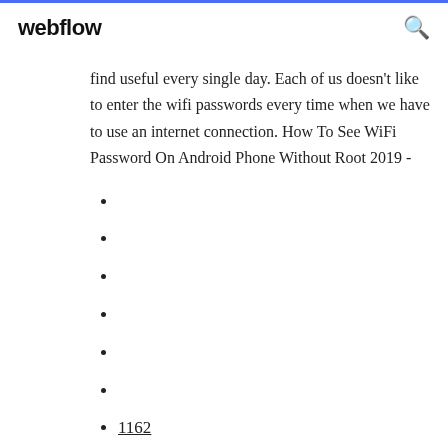webflow
find useful every single day. Each of us doesn't like to enter the wifi passwords every time when we have to use an internet connection. How To See WiFi Password On Android Phone Without Root 2019 -
1162